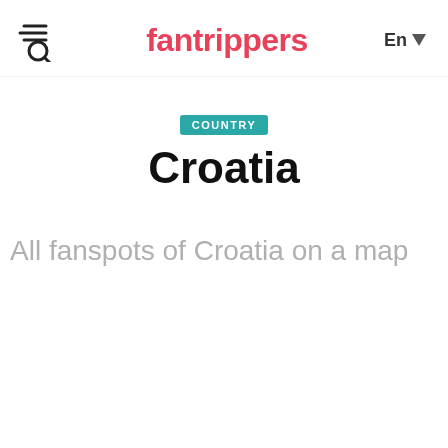fantrippers  En
Croatia
All fanspots of Croatia on a map